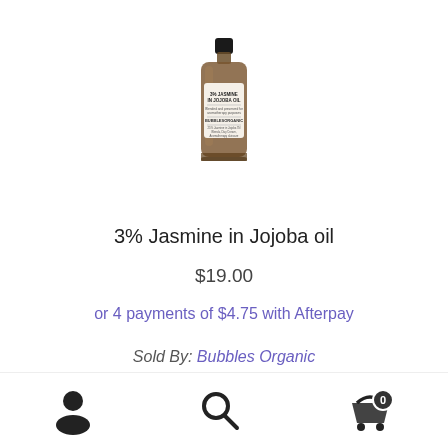[Figure (photo): Small amber glass bottle of 3% Jasmine in Jojoba oil with a black cap and white label, brand Bubbles Organic]
3% Jasmine in Jojoba oil
$19.00
or 4 payments of $4.75 with Afterpay
Sold By: Bubbles Organic
FREE SHIPPING FOR AUSTRALIAN ORDERS OVER $100
Dismiss